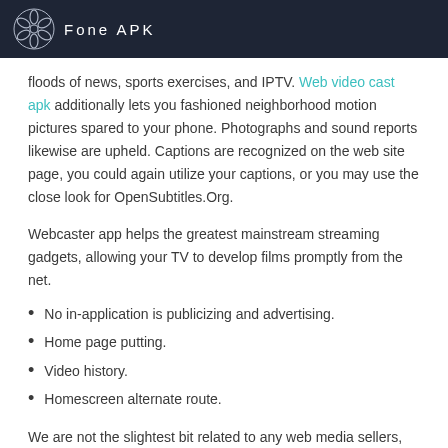Fone APK
floods of news, sports exercises, and IPTV. Web video cast apk additionally lets you fashioned neighborhood motion pictures spared to your phone. Photographs and sound reports likewise are upheld. Captions are recognized on the web site page, you could again utilize your captions, or you may use the close look for OpenSubtitles.Org.
Webcaster app helps the greatest mainstream streaming gadgets, allowing your TV to develop films promptly from the net.
No in-application is publicizing and advertising.
Home page putting.
Video history.
Homescreen alternate route.
We are not the slightest bit related to any web media sellers, and